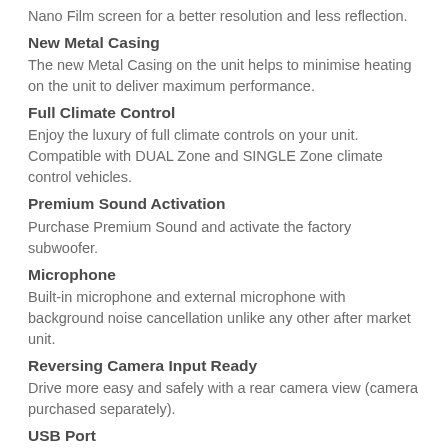Nano Film screen for a better resolution and less reflection.
New Metal Casing
The new Metal Casing on the unit helps to minimise heating on the unit to deliver maximum performance.
Full Climate Control
Enjoy the luxury of full climate controls on your unit. Compatible with DUAL Zone and SINGLE Zone climate control vehicles.
Premium Sound Activation
Purchase Premium Sound and activate the factory subwoofer.
Microphone
Built-in microphone and external microphone with background noise cancellation unlike any other after market unit.
Reversing Camera Input Ready
Drive more easy and safely with a rear camera view (camera purchased separately).
USB Port